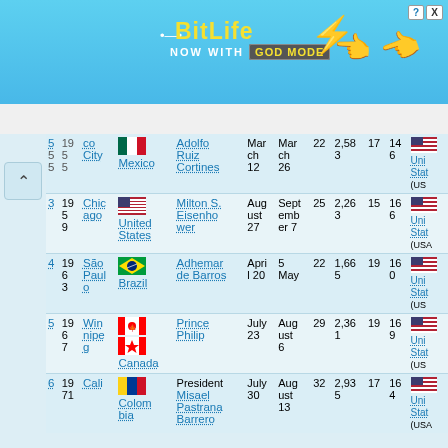[Figure (screenshot): BitLife advertisement banner - 'BitLife NOW WITH GOD MODE' on blue background with cartoon hands]
| # | Year | City | Country | Host/Leader | Open | Close | Days | Athletes | Sports | Events | Broadcast |
| --- | --- | --- | --- | --- | --- | --- | --- | --- | --- | --- | --- |
| 5 | 1955 | Mexico City | Mexico | Adolfo Ruiz Cortines | March 12 | March 26 | 22 | 2,583 | 17 | 146 | United States (USA) |
| 3 | 1959 | Chicago | United States | Milton S. Eisenhower | August 27 | September 7 | 25 | 2,263 | 15 | 166 | United States (USA) |
| 4 | 1963 | São Paulo | Brazil | Adhemar de Barros | April 20 | 5 May | 22 | 1,665 | 19 | 160 | United States (USA) |
| 5 | 1967 | Winnipeg | Canada | Prince Philip | July 23 | August 6 | 29 | 2,361 | 19 | 169 | United States (USA) |
| 6 | 1971 | Cali | Colombia | President Misael Pastrana Borrero | July 30 | August 13 | 32 | 2,935 | 17 | 164 | United States (USA) |